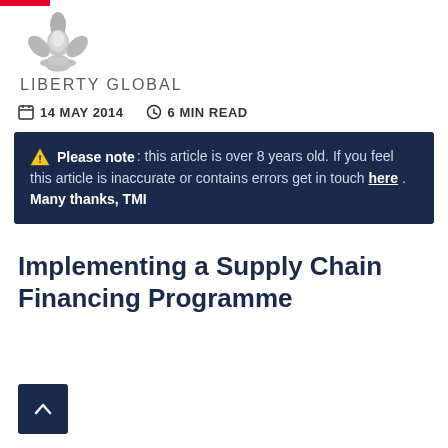[Figure (logo): Liberty Global logo — stylized artichoke/globe flower mark above text LIBERTY GLOBAL]
14 MAY 2014   6 MIN READ
Please note: this article is over 8 years old. If you feel this article is inaccurate or contains errors get in touch here . Many thanks, TMI
Implementing a Supply Chain Financing Programme